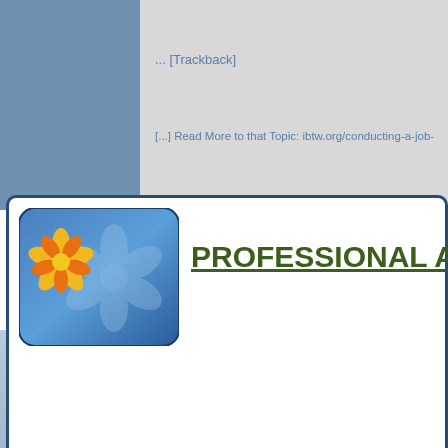... [Trackback]
[...] Read More to that Topic: ibtw.org/conducting-a-job-
[Figure (logo): Professional advice website logo with flower icon and blue gradient rounded rectangle background]
PROFESSIONAL ADVI
Upload Your Resume and Get
Daily Job Search Advice | Career Advancement Tips | Informative Articles on Life Lessons And much more...
Email Address
Upload Resume   Choose File   No file chosen